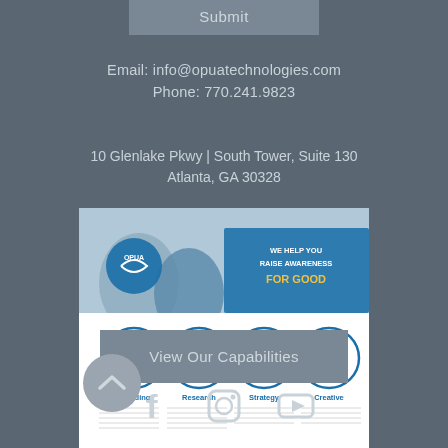Submit
Email: info@opuatechnologies.com
Phone:  770.241.9823
10 Glenlake Pkwy  |  South Tower, Suite 130
Atlanta, GA 30328
[Figure (infographic): OPUA Technologies capabilities infographic showing branding, research, strategy, and creative services with logo and tagline 'WE HELP YOU RAISE AWARENESS FOR GOOD']
View Our Capabilities
[Figure (other): Back to top arrow button (upward chevron in circular button)]
[Figure (other): Social media icons: Facebook, Instagram, YouTube]